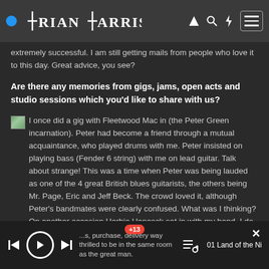BRIAN PARRISH
extremely successful. I am still getting mails from people who love it to this day. Great advice, you see?
Are there any memories from gigs, jams, open acts and studio sessions which you'd like to share with us?
I once did a gig with Fleetwood Mac in (the Peter Green incarnation). Peter had become a friend through a mutual acquaintance, who played drums with me. Peter insisted on playing bass (Fender 6 string) with me on lead guitar. Talk about strange! This was a time when Peter was being lauded as one of the 4 great British blues guitarists, the others being Mr. Page, Eric and Jeff Beck. The crowd loved it, although Peter's bandmates were clearly confused. What was I thinking? On another occasion Herbie Hancock sat in with my band. I do not remember much...
01 Land of the Ni